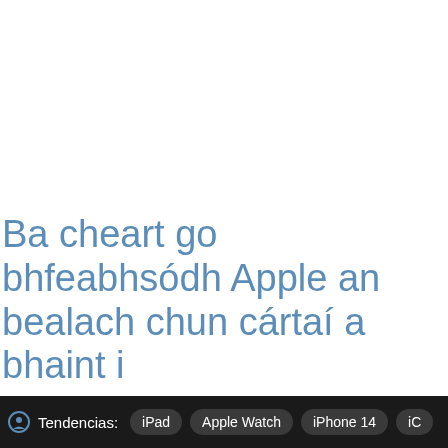Ba cheart go bhfeabhsódh Apple an bealach chun cártaí a bhaint i
Tendencias: iPad  Apple Watch  iPhone 14  iC